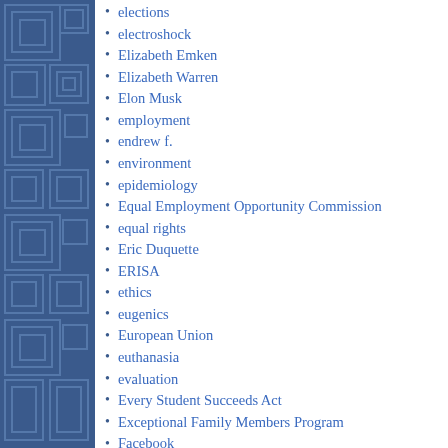elections
electroshock
Elizabeth Emken
Elizabeth Warren
Elon Musk
employment
endrew f.
environment
epidemiology
Equal Employment Opportunity Commission
equal rights
Eric Duquette
ERISA
ethics
eugenics
European Union
euthanasia
evaluation
Every Student Succeeds Act
Exceptional Family Members Program
Facebook
faction